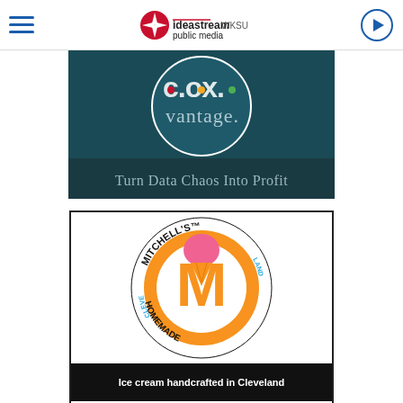ideastream public media WKSU
[Figure (logo): Cox Vantage logo on dark teal background with text 'Turn Data Chaos Into Profit']
[Figure (logo): Mitchell's Ice Cream logo — orange circle with large M, pink ice cream scoop, text 'CLEVELAND HOMEMADE est. 1999' around the circle]
Ice cream handcrafted in Cleveland